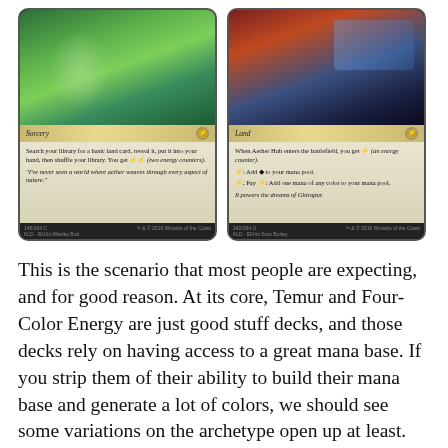[Figure (illustration): Two Magic: The Gathering cards side by side. Left card: green-bordered Sorcery card with forest/nature art showing an elf character. Right card: gold-bordered Land card (Aether Hub) with steampunk city art.]
This is the scenario that most people are expecting, and for good reason. At its core, Temur and Four-Color Energy are just good stuff decks, and those decks rely on having access to a great mana base. If you strip them of their ability to build their mana base and generate a lot of colors, we should see some variations on the archetype open up at least. While I don't think either of these cards is inherently too powerful, they lead to a very odd sort of deckbuilding. And since both create energy, the only